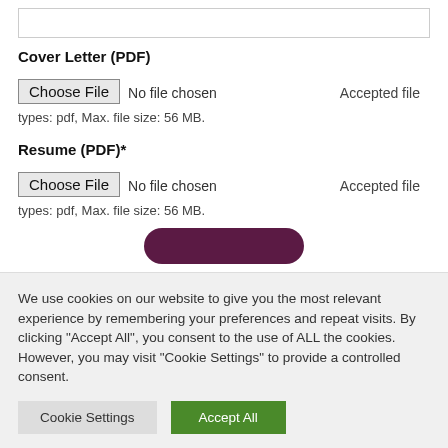[text input field]
Cover Letter (PDF)
Choose File  No file chosen  Accepted file types: pdf, Max. file size: 56 MB.
Resume (PDF)*
Choose File  No file chosen  Accepted file types: pdf, Max. file size: 56 MB.
[Figure (other): Submit button (dark purple rounded button)]
We use cookies on our website to give you the most relevant experience by remembering your preferences and repeat visits. By clicking “Accept All”, you consent to the use of ALL the cookies. However, you may visit "Cookie Settings" to provide a controlled consent.
Cookie Settings   Accept All